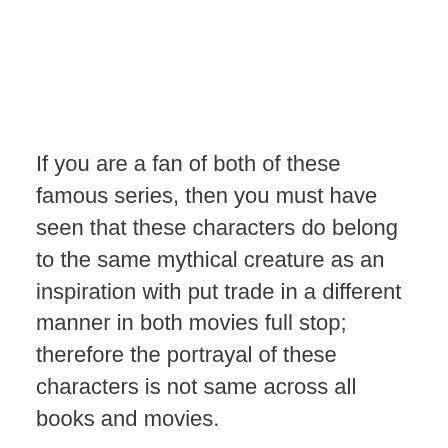If you are a fan of both of these famous series, then you must have seen that these characters do belong to the same mythical creature as an inspiration with put trade in a different manner in both movies full stop; therefore the portrayal of these characters is not same across all books and movies.